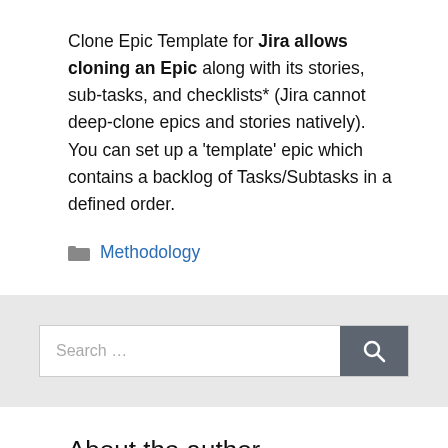Clone Epic Template for Jira allows cloning an Epic along with its stories, sub-tasks, and checklists* (Jira cannot deep-clone epics and stories natively). You can set up a 'template' epic which contains a backlog of Tasks/Subtasks in a defined order.
Methodology
[Figure (other): Search bar with text input field showing placeholder 'Search ...' and a dark gray search button with magnifying glass icon]
About the author